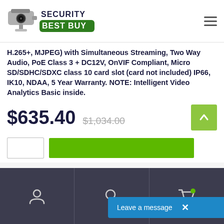[Figure (logo): Security Best Buy logo with security camera graphic and bold green/black text]
H.265+, MJPEG) with Simultaneous Streaming, Two Way Audio, PoE Class 3 + DC12V, OnVIF Compliant, Micro SD/SDHC/SDXC class 10 card slot (card not included) IP66, IK10, NDAA, 5 Year Warranty. NOTE: Intelligent Video Analytics Basic inside.
$635.40  $1,034.00
[Figure (screenshot): Bottom navigation bar with user, search, and cart icons; blue Leave a message chat widget]